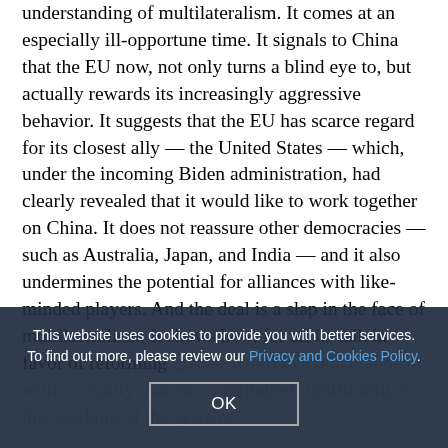understanding of multilateralism. It comes at an especially ill-opportune time. It signals to China that the EU now, not only turns a blind eye to, but actually rewards its increasingly aggressive behavior. It suggests that the EU has scarce regard for its closest ally — the United States — which, under the incoming Biden administration, had clearly revealed that it would like to work together on China. It does not reassure other democracies — such as Australia, Japan, and India — and it also undermines the potential for alliances with like-minded players. And the deal is a slap in the face of multilateralism: It shows how, for all its talk in favor of reforming [obscured] greater world to a bilateral deal with a country that has contributed significantly to the breaking of the system....
This website uses cookies to provide you with better services. To find out more, please review our Privacy and Cookies Policy.